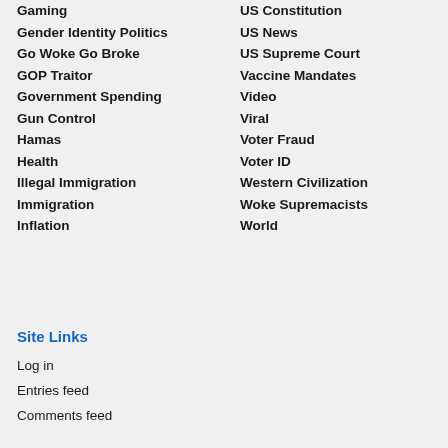Gaming
Gender Identity Politics
Go Woke Go Broke
GOP Traitor
Government Spending
Gun Control
Hamas
Health
Illegal Immigration
Immigration
Inflation
US Constitution
US News
US Supreme Court
Vaccine Mandates
Video
Viral
Voter Fraud
Voter ID
Western Civilization
Woke Supremacists
World
Site Links
Log in
Entries feed
Comments feed